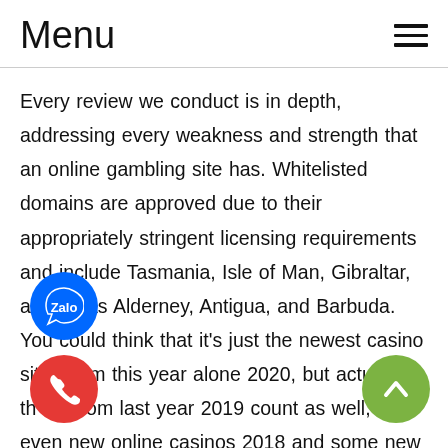Menu
Every review we conduct is in depth, addressing every weakness and strength that an online gambling site has. Whitelisted domains are approved due to their appropriately stringent licensing requirements and include Tasmania, Isle of Man, Gibraltar, as well as Alderney, Antigua, and Barbuda. You could think that it's just the newest casino sites from this year alone 2020, but actually, those from last year 2019 count as well, and even new online casinos 2018 and some new casinos 2017 if we were to divide them by functionality and a new wave in the iGaming industry. The important question is whether or not you can trust them with your money. Still, if you can find such a site...